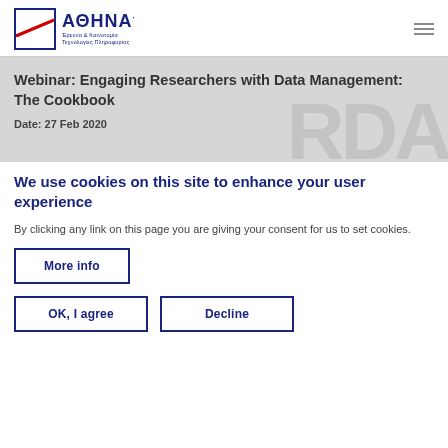ΑΘΗΝΑ Έρευνα & Καινοτομία Τεχνολογίες Πληροφορίας
[Figure (screenshot): Banner image with gray background, globe watermark, bold title 'Webinar: Engaging Researchers with Data Management: The Cookbook', and date 'Date: 27 Feb 2020']
We use cookies on this site to enhance your user experience
By clicking any link on this page you are giving your consent for us to set cookies.
More info
OK, I agree
Decline